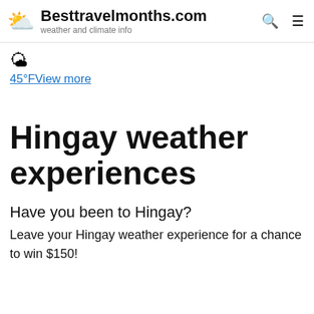Besttravelmonths.com — weather and climate info
[Figure (other): Partly sunny weather icon emoji with sun and cloud]
45°F View more
Hingay weather experiences
Have you been to Hingay?
Leave your Hingay weather experience for a chance to win $150!